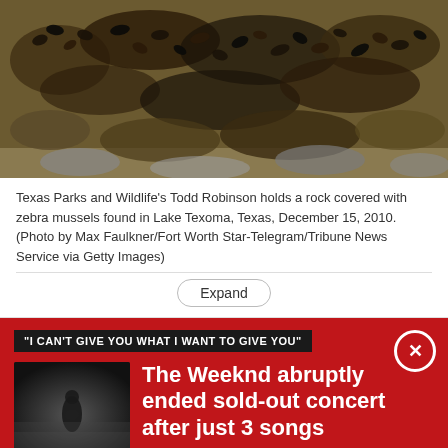[Figure (photo): A rock covered with zebra mussels being held over more rocks, photographed outdoors near Lake Texoma, Texas.]
Texas Parks and Wildlife's Todd Robinson holds a rock covered with zebra mussels found in Lake Texoma, Texas, December 15, 2010. (Photo by Max Faulkner/Fort Worth Star-Telegram/Tribune News Service via Getty Images)
"I CAN'T GIVE YOU WHAT I WANT TO GIVE YOU"
[Figure (photo): Concert photo showing a performer on stage with atmospheric fog/haze lighting.]
The Weeknd abruptly ended sold-out concert after just 3 songs
The four-time Grammy winner was performing his third song "Can't Feel My Face" before he abruptly stopped his show at SoFi Stadium in Inglewood, California.